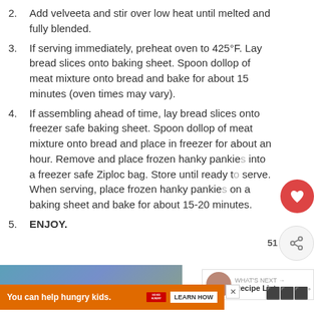2. Add velveeta and stir over low heat until melted and fully blended.
3. If serving immediately, preheat oven to 425°F. Lay bread slices onto baking sheet. Spoon dollop of meat mixture onto bread and bake for about 15 minutes (oven times may vary).
4. If assembling ahead of time, lay bread slices onto freezer safe baking sheet. Spoon dollop of meat mixture onto bread and place in freezer for about an hour. Remove and place frozen hanky pankies into a freezer safe Ziploc bag. Store until ready to serve. When serving, place frozen hanky pankies on a baking sheet and bake for about 15-20 minutes.
5. ENJOY.
[Figure (photo): Advertisement image showing a child's face with a colorful background]
[Figure (infographic): Orange advertisement banner: 'You can help hungry kids. NO KID HUNGRY. LEARN HOW']